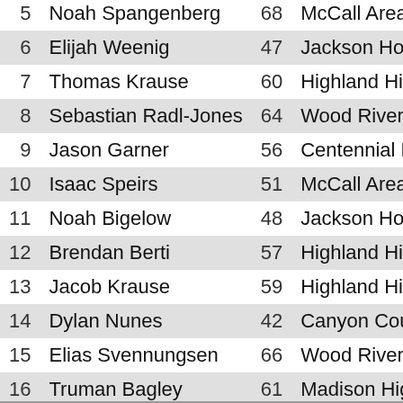| Place | Name | Bib | Team |
| --- | --- | --- | --- |
| 5 | Noah Spangenberg | 68 | McCall Area C |
| 6 | Elijah Weenig | 47 | Jackson Hole |
| 7 | Thomas Krause | 60 | Highland High |
| 8 | Sebastian Radl-Jones | 64 | Wood River Hi |
| 9 | Jason Garner | 56 | Centennial Hig |
| 10 | Isaac Speirs | 51 | McCall Area C |
| 11 | Noah Bigelow | 48 | Jackson Hole |
| 12 | Brendan Berti | 57 | Highland High |
| 13 | Jacob Krause | 59 | Highland High |
| 14 | Dylan Nunes | 42 | Canyon Count |
| 15 | Elias Svennungsen | 66 | Wood River Hi |
| 16 | Truman Bagley | 61 | Madison High |
| 17 | Arden Jacoby | 52 | Teton Valley C |
| 18 | Ryan Mcminn | 58 | Highland High |
| 19 | Tanner Jackson | 46 | Canyon Count |
| 20 | Mason Tuft | 41 | Canyon Count |
| 21 | Cody Wyman | 43 | Canyon Count |